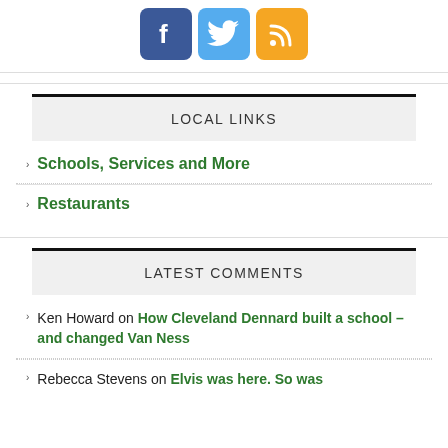[Figure (illustration): Social media icons: Facebook (blue), Twitter (light blue), RSS feed (orange)]
LOCAL LINKS
Schools, Services and More
Restaurants
LATEST COMMENTS
Ken Howard on How Cleveland Dennard built a school – and changed Van Ness
Rebecca Stevens on Elvis was here. So was...